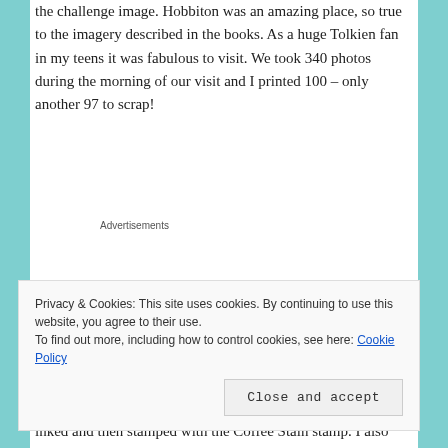the challenge image. Hobbiton was an amazing place, so true to the imagery described in the books. As a huge Tolkien fan in my teens it was fabulous to visit. We took 340 photos during the morning of our visit and I printed 100 – only another 97 to scrap!
Advertisements
[Figure (other): Green advertisement banner]
[Figure (other): Hobbiton image link with placeholder icon]
This layout was started with a spattering of watery Distress
Privacy & Cookies: This site uses cookies. By continuing to use this website, you agree to their use.
To find out more, including how to control cookies, see here: Cookie Policy
Close and accept
inked and then stamped with the Coffee Stain stamp. I also